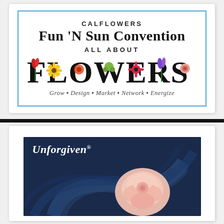[Figure (logo): Calflowers Fun 'N Sun Convention logo with 'ALL ABOUT FLOWERS' text decorated with flower images for each letter, and tagline 'Grow · Design · Market · Network · Energize', bordered in blue]
[Figure (photo): Dark navy blue background with decorative swirling arcs, 'Unforgiven®' in white italic script at top left, and a pink rose in center-right foreground]